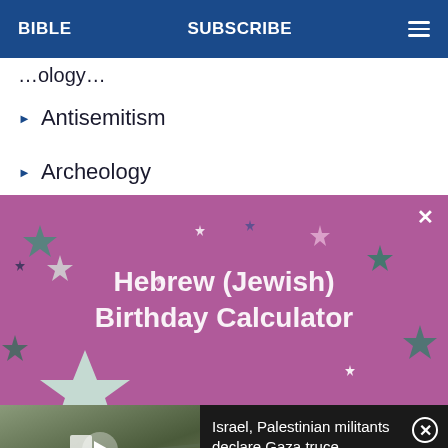BIBLE   SUBSCRIBE
…ology…
Antisemitism
Archeology
[Figure (illustration): Hebrew (Jewish) Birthday Calculator promotional banner with purple/mauve background and colorful stars]
Israel, Palestinian militants declare Gaza truce